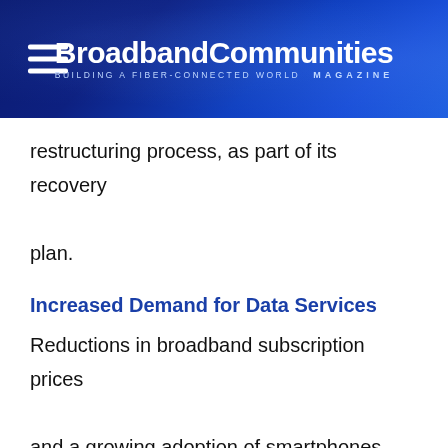BroadbandCommunities MAGAZINE | BUILDING A FIBER-CONNECTED WORLD
restructuring process, as part of its recovery plan.
Increased Demand for Data Services
Reductions in broadband subscription prices and a growing adoption of smartphones have led to an increase in demand for data services in the home and on the move in Brazil. The introduction of fiber-to-the-home has led to renewed demands for residential broadband services in regions previously covered only by